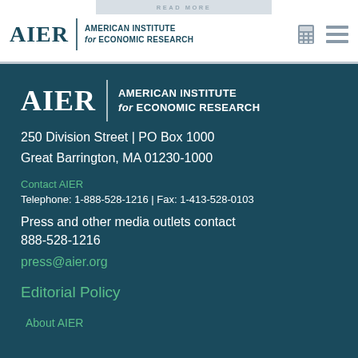AIER | AMERICAN INSTITUTE for ECONOMIC RESEARCH
[Figure (logo): AIER American Institute for Economic Research logo in dark teal on white header background, with calculator and hamburger menu icons on right]
[Figure (logo): AIER American Institute for Economic Research logo in white on dark teal footer background]
250 Division Street | PO Box 1000
Great Barrington, MA 01230-1000
Contact AIER
Telephone: 1-888-528-1216 | Fax: 1-413-528-0103
Press and other media outlets contact
888-528-1216
press@aier.org
Editorial Policy
About AIER